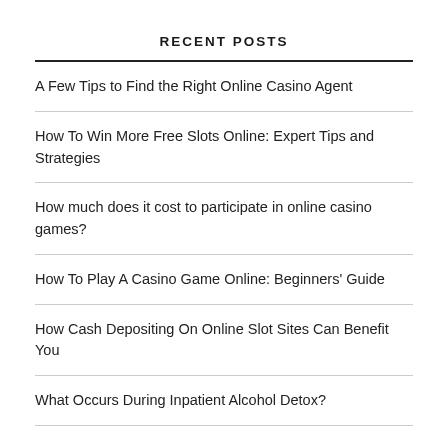RECENT POSTS
A Few Tips to Find the Right Online Casino Agent
How To Win More Free Slots Online: Expert Tips and Strategies
How much does it cost to participate in online casino games?
How To Play A Casino Game Online: Beginners' Guide
How Cash Depositing On Online Slot Sites Can Benefit You
What Occurs During Inpatient Alcohol Detox?